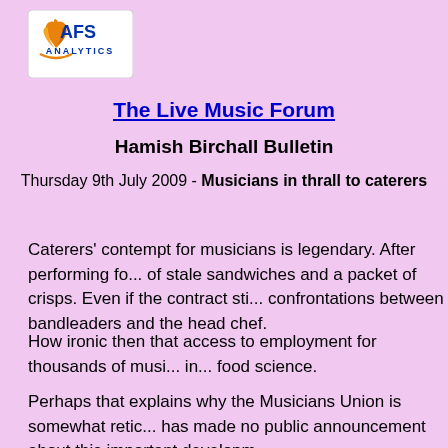[Figure (logo): AFS Analytics logo with orange book/flame icon and blue text 'AFS ANALYTICS']
The Live Music Forum
Hamish Birchall Bulletin
Thursday 9th July 2009 - Musicians in thrall to caterers
Caterers' contempt for musicians is legendary. After performing fo... of stale sandwiches and a packet of crisps. Even if the contract sti... confrontations between bandleaders and the head chef.
How ironic then that access to employment for thousands of musi... in... food science.
Perhaps that explains why the Musicians Union is somewhat retic... has made no public announcement about this important developm...
'A working group has been set up to promote the options for putti... agreed to focus on promoting examples where premises have mad... music is ancillary to the main purpose of visiting the venue such a... and will complement the Musicians? Union practical advice and c...